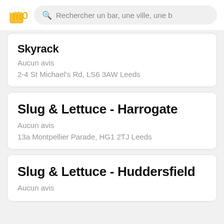Rechercher un bar, une ville, une b
Skyrack
Aucun avis
2-4 St Michael's Rd, LS6 3AW Leeds
Slug & Lettuce - Harrogate
Aucun avis
13a Montpellier Parade, HG1 2TJ Leeds
Slug & Lettuce - Huddersfield
Aucun avis